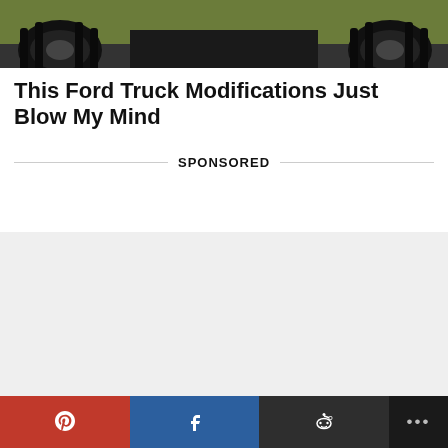[Figure (photo): Close-up photo of large off-road truck tires on pavement, green background foliage visible at top]
This Ford Truck Modifications Just Blow My Mind
SPONSORED
© 2017 Vixert.com
About Us
Contact us
Pinterest share | Facebook share | Reddit share | More options